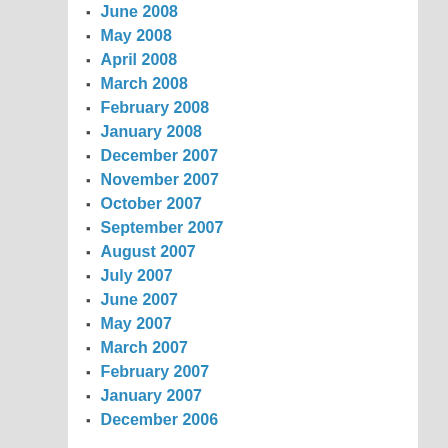June 2008
May 2008
April 2008
March 2008
February 2008
January 2008
December 2007
November 2007
October 2007
September 2007
August 2007
July 2007
June 2007
May 2007
March 2007
February 2007
January 2007
December 2006
META
Register